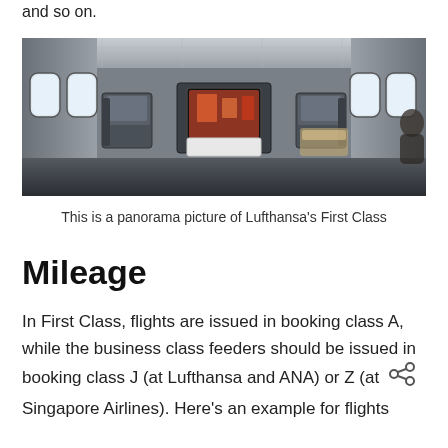and so on.
[Figure (photo): Panorama picture of Lufthansa's First Class aircraft cabin interior showing luxury flat-bed seats, windows on both sides, and a large screen monitor in the center.]
This is a panorama picture of Lufthansa's First Class
Mileage
In First Class, flights are issued in booking class A, while the business class feeders should be issued in booking class J (at Lufthansa and ANA) or Z (at Singapore Airlines). Here's an example for flights